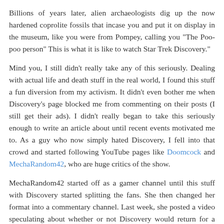Billions of years later, alien archaeologists dig up the now hardened coprolite fossils that incase you and put it on display in the museum, like you were from Pompey, calling you "The Poo-poo person" This is what it is like to watch Star Trek Discovery."
Mind you, I still didn't really take any of this seriously. Dealing with actual life and death stuff in the real world, I found this stuff a fun diversion from my activism. It didn't even bother me when Discovery's page blocked me from commenting on their posts (I still get their ads). I didn't really began to take this seriously enough to write an article about until recent events motivated me to. As a guy who now simply hated Discovery, I fell into that crowd and started following YouTube pages like Doomcock and MechaRandom42, who are huge critics of the show.
MechaRandom42 started off as a gamer channel until this stuff with Discovery started splitting the fans. She then changed her format into a commentary channel. Last week, she posted a video speculating about whether or not Discovery would return for a third season. In it, she predicted that it wouldn't based on a few suspect tweets from cast members. This triggered Chris Hunter - the son of Jeffery Hunter,